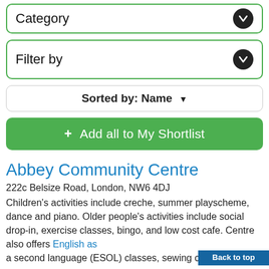Category
Filter by
Sorted by: Name
+ Add all to My Shortlist
Abbey Community Centre
222c Belsize Road, London, NW6 4DJ
Children's activities include creche, summer playscheme, dance and piano. Older people's activities include social drop-in, exercise classes, bingo, and low cost cafe. Centre also offers English as a second language (ESOL) classes, sewing classes,
Back to top